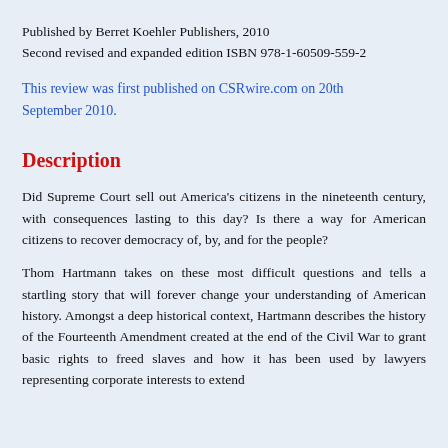Published by Berret Koehler Publishers, 2010
Second revised and expanded edition ISBN 978-1-60509-559-2
This review was first published on CSRwire.com on 20th September 2010.
Description
Did Supreme Court sell out America's citizens in the nineteenth century, with consequences lasting to this day? Is there a way for American citizens to recover democracy of, by, and for the people?
Thom Hartmann takes on these most difficult questions and tells a startling story that will forever change your understanding of American history. Amongst a deep historical context, Hartmann describes the history of the Fourteenth Amendment created at the end of the Civil War to grant basic rights to freed slaves and how it has been used by lawyers representing corporate interests to extend